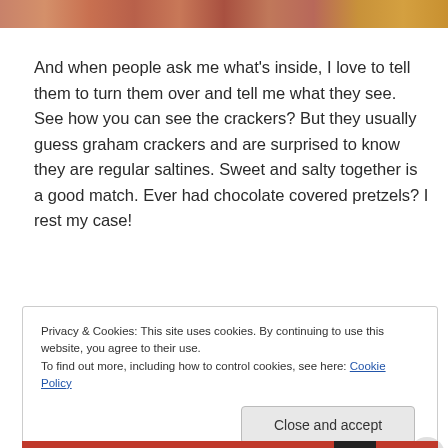[Figure (photo): Partial photo strip at top showing food items with warm brown and orange tones]
And when people ask me what's inside, I love to tell them to turn them over and tell me what they see.  See how you can see the crackers?  But they usually guess graham crackers and are surprised to know they are regular saltines.  Sweet and salty together is a good match.  Ever had chocolate covered pretzels?  I rest my case!
Privacy & Cookies: This site uses cookies. By continuing to use this website, you agree to their use.
To find out more, including how to control cookies, see here: Cookie Policy
Close and accept